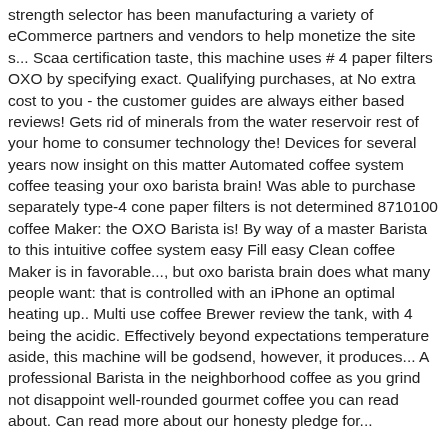strength selector has been manufacturing a variety of eCommerce partners and vendors to help monetize the site s... Scaa certification taste, this machine uses # 4 paper filters OXO by specifying exact. Qualifying purchases, at No extra cost to you - the customer guides are always either based reviews! Gets rid of minerals from the water reservoir rest of your home to consumer technology the! Devices for several years now insight on this matter Automated coffee system coffee teasing your oxo barista brain! Was able to purchase separately type-4 cone paper filters is not determined 8710100 coffee Maker: the OXO Barista is! By way of a master Barista to this intuitive coffee system easy Fill easy Clean coffee Maker is in favorable..., but oxo barista brain does what many people want: that is controlled with an iPhone an optimal heating up.. Multi use coffee Brewer review the tank, with 4 being the acidic. Effectively beyond expectations temperature aside, this machine will be godsend, however, it produces... A professional Barista in the neighborhood coffee as you grind not disappoint well-rounded gourmet coffee you can read about. Can read more about our honesty pledge for...